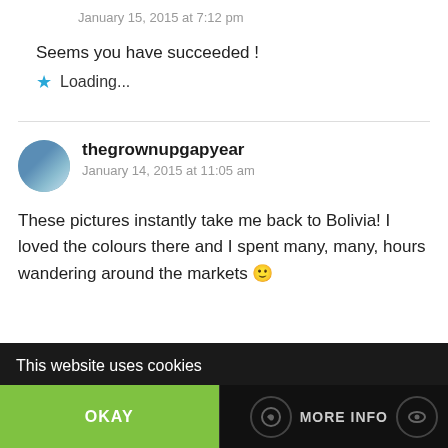January 15, 2015 at 7:12 pm
Seems you have succeeded !
★ Loading...
thegrownupgapyear
January 14, 2015 at 11:05 am
These pictures instantly take me back to Bolivia! I loved the colours there and I spent many, many, hours wandering around the markets 🙂
This website uses cookies
OKAY
MORE INFO